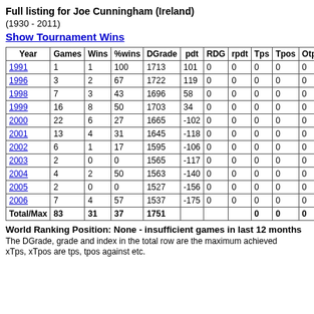Full listing for Joe Cunningham (Ireland)
(1930 - 2011)
Show Tournament Wins
| Year | Games | Wins | %wins | DGrade | pdt | RDG | rpdt | Tps | Tpos | Otps |
| --- | --- | --- | --- | --- | --- | --- | --- | --- | --- | --- |
| 1991 | 1 | 1 | 100 | 1713 | 101 | 0 | 0 | 0 | 0 | 0 |
| 1996 | 3 | 2 | 67 | 1722 | 119 | 0 | 0 | 0 | 0 | 0 |
| 1998 | 7 | 3 | 43 | 1696 | 58 | 0 | 0 | 0 | 0 | 0 |
| 1999 | 16 | 8 | 50 | 1703 | 34 | 0 | 0 | 0 | 0 | 0 |
| 2000 | 22 | 6 | 27 | 1665 | -102 | 0 | 0 | 0 | 0 | 0 |
| 2001 | 13 | 4 | 31 | 1645 | -118 | 0 | 0 | 0 | 0 | 0 |
| 2002 | 6 | 1 | 17 | 1595 | -106 | 0 | 0 | 0 | 0 | 0 |
| 2003 | 2 | 0 | 0 | 1565 | -117 | 0 | 0 | 0 | 0 | 0 |
| 2004 | 4 | 2 | 50 | 1563 | -140 | 0 | 0 | 0 | 0 | 0 |
| 2005 | 2 | 0 | 0 | 1527 | -156 | 0 | 0 | 0 | 0 | 0 |
| 2006 | 7 | 4 | 57 | 1537 | -175 | 0 | 0 | 0 | 0 | 0 |
| Total/Max | 83 | 31 | 37 | 1751 |  |  |  | 0 | 0 | 0 |
World Ranking Position: None - insufficient games in last 12 months
The DGrade, grade and index in the total row are the maximum achieved
xTps, xTpos are tps, tpos against etc.